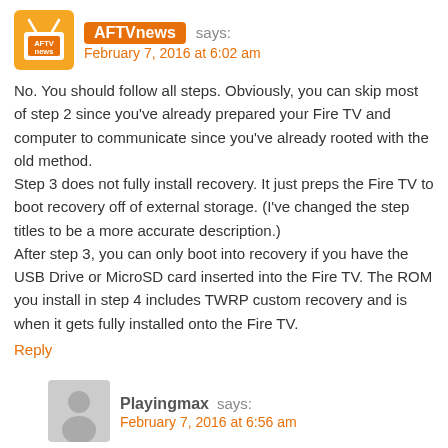[Figure (logo): AFTVnews orange square logo with TV icon]
AFTVnews says:
February 7, 2016 at 6:02 am
No. You should follow all steps. Obviously, you can skip most of step 2 since you've already prepared your Fire TV and computer to communicate since you've already rooted with the old method.
Step 3 does not fully install recovery. It just preps the Fire TV to boot recovery off of external storage. (I've changed the step titles to be a more accurate description.)
After step 3, you can only boot into recovery if you have the USB Drive or MicroSD card inserted into the Fire TV. The ROM you install in step 4 includes TWRP custom recovery and is when it gets fully installed onto the Fire TV.
Reply
[Figure (illustration): Generic grey person avatar silhouette]
Playingmax says:
February 7, 2016 at 6:56 am
Thank u!!
Reply